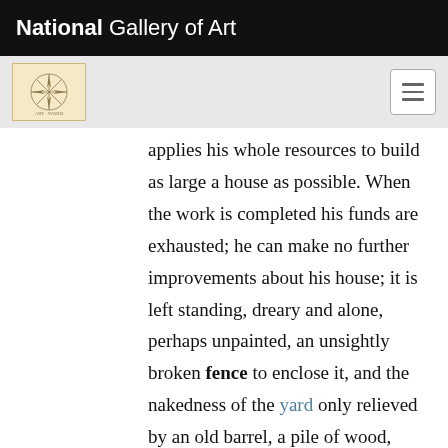National Gallery of Art
applies his whole resources to build as large a house as possible. When the work is completed his funds are exhausted; he can make no further improvements about his house; it is left standing, dreary and alone, perhaps unpainted, an unsightly broken fence to enclose it, and the nakedness of the yard only relieved by an old barrel, a pile of wood, and broken hoops and boards. Sometimes indeed a more finished appearance is presented; the house is neatly painted, a handsome grass plat extends before it, and a picket fence encircles it.”